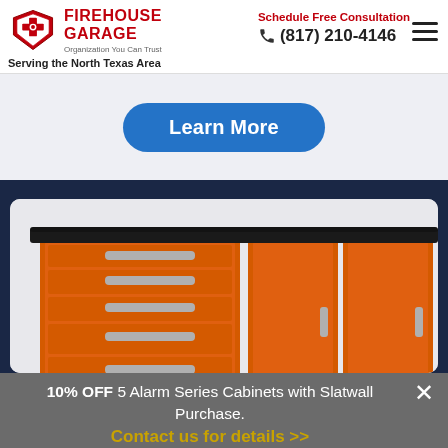[Figure (logo): Firehouse Garage logo with red badge/shield emblem and red text reading FIREHOUSE GARAGE, tagline Organization You Can Trust, and subtext Serving the North Texas Area]
Schedule Free Consultation
☎ (817) 210-4146
Learn More
[Figure (photo): Orange garage cabinet unit with black countertop, multiple drawers on the left side and two cabinet doors on the right, on metal casters, photographed against a white/grey background]
10% OFF 5 Alarm Series Cabinets with Slatwall Purchase.
Contact us for details >>